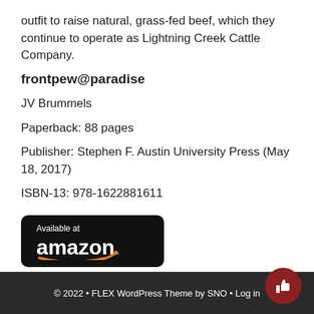outfit to raise natural, grass-fed beef, which they continue to operate as Lightning Creek Cattle Company.
frontpew@paradise
JV Brummels
Paperback: 88 pages
Publisher: Stephen F. Austin University Press (May 18, 2017)
ISBN-13: 978-1622881611
[Figure (logo): Amazon 'Available at amazon' badge with orange arrow logo on black rounded rectangle background]
© 2022 • FLEX WordPress Theme by SNO • Log in